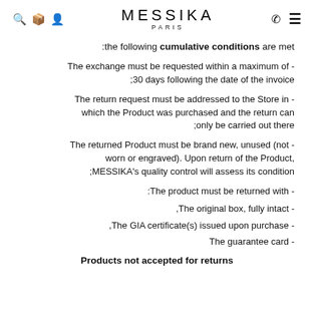MESSIKA PARIS
:the following cumulative conditions are met
- The exchange must be requested within a maximum of 30 days following the date of the invoice;
- The return request must be addressed to the Store in which the Product was purchased and the return can only be carried out there;
- The returned Product must be brand new, unused (not worn or engraved). Upon return of the Product, MESSIKA's quality control will assess its condition;
- The product must be returned with:
- The original box, fully intact,
- The GIA certificate(s) issued upon purchase,
- The guarantee card
Products not accepted for returns